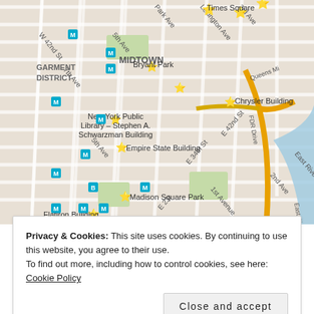[Figure (map): Street map of Midtown Manhattan, New York City, showing landmarks including Times Square, Bryant Park, New York Public Library - Stephen A. Schwarzman Building, Chrysler Building, Empire State Building, Madison Square Park, Flatiron Building, and street grid with subway markers, FDR Drive, Queens Midtown Tunnel, and East River visible.]
Privacy & Cookies: This site uses cookies. By continuing to use this website, you agree to their use.
To find out more, including how to control cookies, see here: Cookie Policy
Close and accept